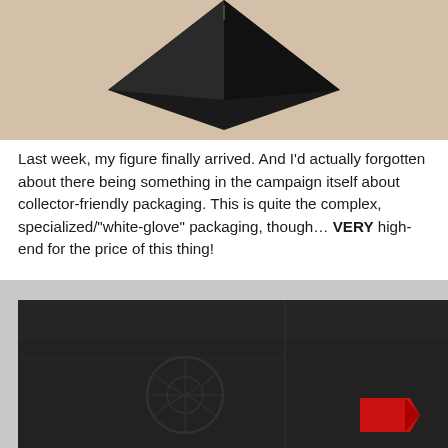[Figure (photo): Partial view of a dark/black angular shaped object, possibly a collectible figure or packaging, photographed against a beige/tan surface. Only the lower portion is visible showing a angular black shape.]
Last week, my figure finally arrived. And I'd actually forgotten about there being something in the campaign itself about collector-friendly packaging. This is quite the complex, specialized/"white-glove" packaging, though… VERY high-end for the price of this thing!
[Figure (photo): A black collectible/premium box photographed from above at an angle, showing an embossed logo (appears to be a Star Wars Rebel alliance or similar symbol) on the matte black surface, with a red ribbon/pull tab visible at the right edge of the box. Background is light grey/white surface.]